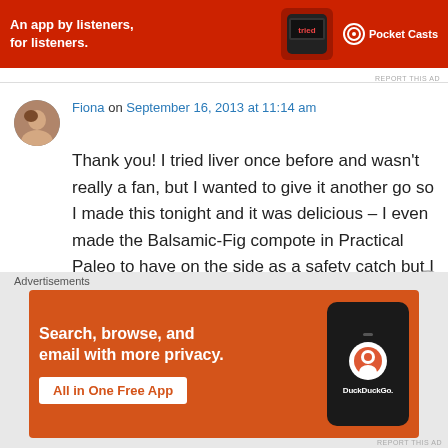[Figure (photo): Pocket Casts advertisement banner: red background, text 'An app by listeners, for listeners.' with a phone image and Pocket Casts logo]
Fiona on September 16, 2013 at 11:14 am
Thank you! I tried liver once before and wasn't really a fan, but I wanted to give it another go so I made this tonight and it was delicious – I even made the Balsamic-Fig compote in Practical Paleo to have on the side as a safety catch but I didn't want, let alone need, it!
★ Like
[Figure (photo): DuckDuckGo advertisement: orange background, text 'Search, browse, and email with more privacy. All in One Free App' with phone image showing DuckDuckGo logo]